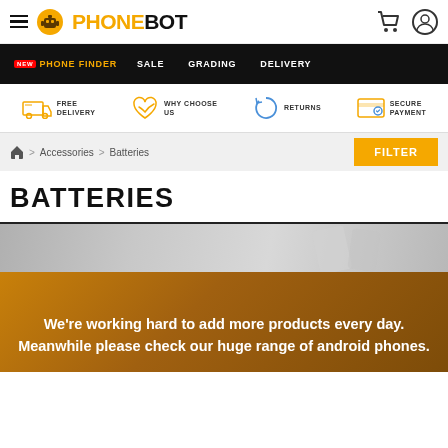PHONEBOT - hamburger menu, cart icon, user icon
PHONE FINDER | SALE | GRADING | DELIVERY
FREE DELIVERY | WHY CHOOSE US | RETURNS | SECURE PAYMENT
Home > Accessories > Batteries
BATTERIES
[Figure (photo): Product area with grey phone background image transitioning to orange/brown band with message: We're working hard to add more products every day. Meanwhile please check our huge range of android phones.]
We're working hard to add more products every day. Meanwhile please check our huge range of android phones.